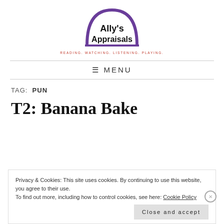[Figure (logo): Ally's Appraisals logo: semicircle arch in purple with text 'Ally's Appraisals' inside]
READING. WATCHING. LISTENING. PLAYING.
≡ MENU
TAG: PUN
T2: Banana Bake
Privacy & Cookies: This site uses cookies. By continuing to use this website, you agree to their use.
To find out more, including how to control cookies, see here: Cookie Policy
Close and accept